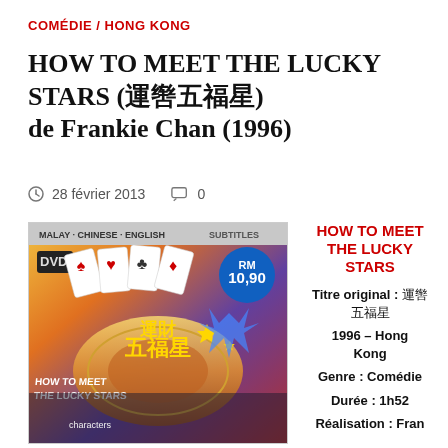COMÉDIE / HONG KONG
HOW TO MEET THE LUCKY STARS (喜劇之王) de Frankie Chan (1996)
28 février 2013  0
[Figure (photo): DVD cover of How to Meet the Lucky Stars (1996), a Hong Kong comedy film. The cover shows playing cards, actors, Chinese characters, and the title text. It is labelled MALAY, CHINESE, ENGLISH SUBTITLES and has a price sticker of RM 10.90.]
HOW TO MEET THE LUCKY STARS
Titre original : 運財五福星
1996 – Hong Kong
Genre : Comédie
Durée : 1h52
Réalisation : Frankie Chan